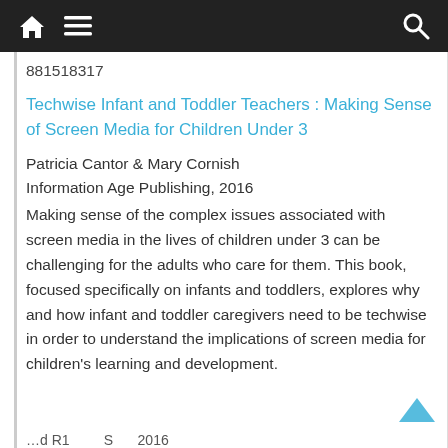Navigation bar with home, menu, and search icons
881518317
Techwise Infant and Toddler Teachers : Making Sense of Screen Media for Children Under 3
Patricia Cantor & Mary Cornish
Information Age Publishing, 2016
Making sense of the complex issues associated with screen media in the lives of children under 3 can be challenging for the adults who care for them. This book, focused specifically on infants and toddlers, explores why and how infant and toddler caregivers need to be techwise in order to understand the implications of screen media for children's learning and development.